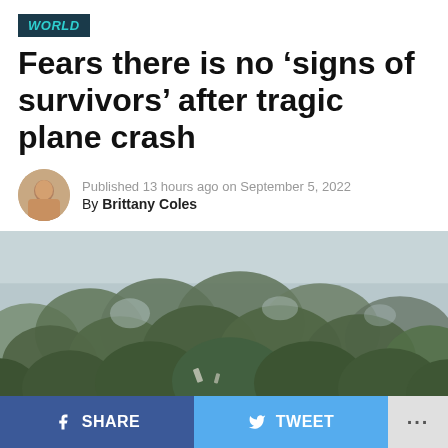WORLD
Fears there is no ‘signs of survivors’ after tragic plane crash
Published 13 hours ago on September 5, 2022
By Brittany Coles
[Figure (photo): Aerial view of dense tree canopy, likely showing the crash site area from above]
SHARE  TWEET  ...